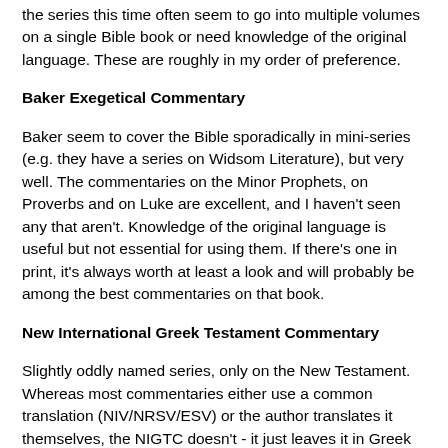the series this time often seem to go into multiple volumes on a single Bible book or need knowledge of the original language. These are roughly in my order of preference.
Baker Exegetical Commentary
Baker seem to cover the Bible sporadically in mini-series (e.g. they have a series on Widsom Literature), but very well. The commentaries on the Minor Prophets, on Proverbs and on Luke are excellent, and I haven't seen any that aren't. Knowledge of the original language is useful but not essential for using them. If there's one in print, it's always worth at least a look and will probably be among the best commentaries on that book.
New International Greek Testament Commentary
Slightly oddly named series, only on the New Testament. Whereas most commentaries either use a common translation (NIV/NRSV/ESV) or the author translates it themselves, the NIGTC doesn't - it just leaves it in Greek and discusses the text in Greek. Hence some knowledge of